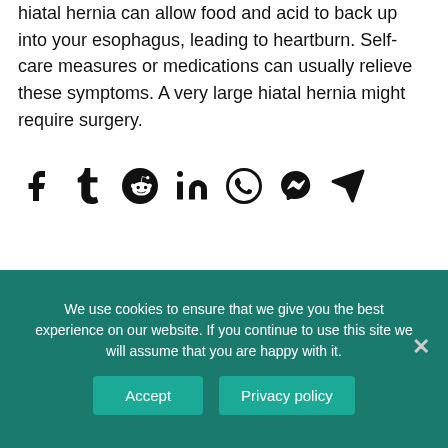hiatal hernia can allow food and acid to back up into your esophagus, leading to heartburn. Self-care measures or medications can usually relieve these symptoms. A very large hiatal hernia might require surgery.
[Figure (infographic): Row of social media share icons: Facebook, Tumblr, Reddit, LinkedIn, WhatsApp, Messenger, Telegram]
Is the foreclosure moratorium going to be extended?
What happens when you start a high-protein diet?
We use cookies to ensure that we give you the best experience on our website. If you continue to use this site we will assume that you are happy with it.
Accept
Privacy policy